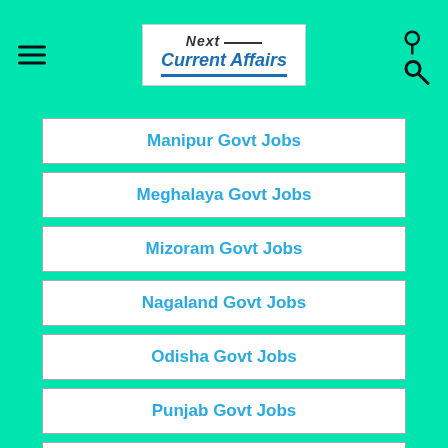Next Current Affairs
Manipur Govt Jobs
Meghalaya Govt Jobs
Mizoram Govt Jobs
Nagaland Govt Jobs
Odisha Govt Jobs
Punjab Govt Jobs
Rajasthan Govt Jobs
Sikkim Govt Jobs
Tamil Nadu Govt Jobs